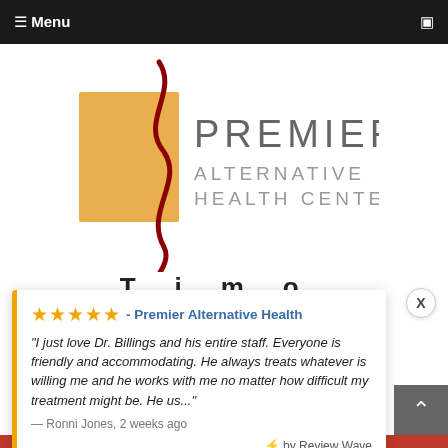☰ Menu
[Figure (logo): Premier Alternative Health Center logo with golden square, red spine graphic, and gray text]
"I just love Dr. Billings and his entire staff. Everyone is friendly and accommodating. He always treats whatever is willing me and he works with me no matter how difficult my treatment might be. He us..."
— Ronni Jones, 2 weeks ago
⚡ by Review Wave